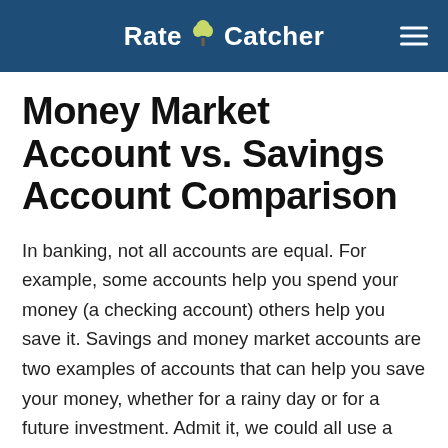Rate Catcher
Money Market Account vs. Savings Account Comparison
In banking, not all accounts are equal. For example, some accounts help you spend your money (a checking account) others help you save it. Savings and money market accounts are two examples of accounts that can help you save your money, whether for a rainy day or for a future investment. Admit it, we could all use a